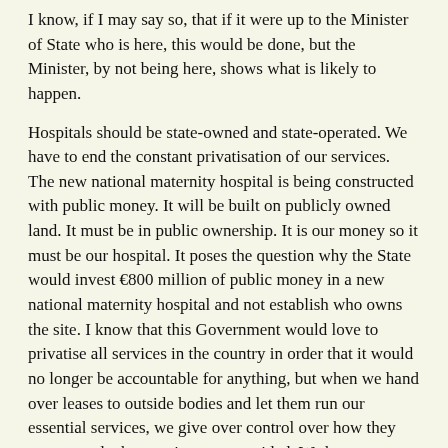I know, if I may say so, that if it were up to the Minister of State who is here, this would be done, but the Minister, by not being here, shows what is likely to happen.
Hospitals should be state-owned and state-operated. We have to end the constant privatisation of our services. The new national maternity hospital is being constructed with public money. It will be built on publicly owned land. It must be in public ownership. It is our money so it must be our hospital. It poses the question why the State would invest €800 million of public money in a new national maternity hospital and not establish who owns the site. I know that this Government would love to privatise all services in the country in order that it would no longer be accountable for anything, but when we hand over leases to outside bodies and let them run our essential services, we give over control over how they are run and what services are provided. We have seen time and time again the failure of private bodies to provide adequately the services we need in this country. When it comes to healthcare, we run the risk of allowing other bodies to decide to be selective as to which healthcare services will be offered.
That is completely unacceptable. I have very serious concerns about who the hospital will be leased to and I am completely opposed to the suggestion of it being leased to the St. Vincent's Healthcare Group or to any other religious or private group. The possibility of the Catholic ethos overriding legislation is very concerning. I cannot stress enough that the